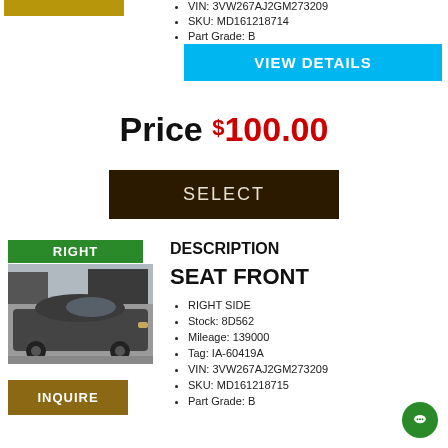[Figure (other): Gold bar/logo placeholder at top left]
VIN: 3VW267AJ2GM273209
SKU: MD161218714
Part Grade: B
VIEW DETAILS
Price $100.00
SELECT
RIGHT
[Figure (photo): Dark gray Volkswagen Jetta sedan in a junkyard/salvage yard setting]
INQUIRE
DESCRIPTION
SEAT FRONT
RIGHT SIDE
Stock: 8D562
Mileage: 139000
Tag: IA-60419A
VIN: 3VW267AJ2GM273209
SKU: MD161218715
Part Grade: B